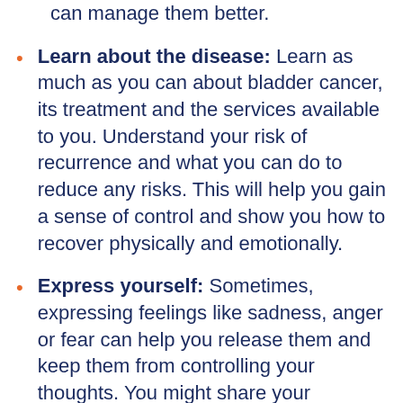can manage them better.
Learn about the disease: Learn as much as you can about bladder cancer, its treatment and the services available to you. Understand your risk of recurrence and what you can do to reduce any risks. This will help you gain a sense of control and show you how to recover physically and emotionally.
Express yourself: Sometimes, expressing feelings like sadness, anger or fear can help you release them and keep them from controlling your thoughts. You might share your concerns with friends, family members, a counselor or others going through the same